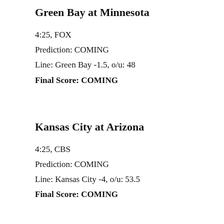Green Bay at Minnesota
4:25, FOX
Prediction: COMING
Line: Green Bay -1.5, o/u: 48
Final Score: COMING
Kansas City at Arizona
4:25, CBS
Prediction: COMING
Line: Kansas City -4, o/u: 53.5
Final Score: COMING
Las Vegas at Los Angeles Chargers